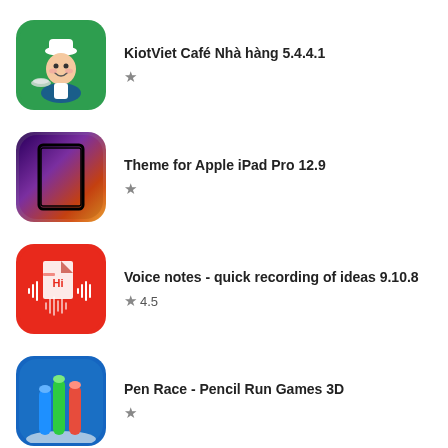KiotViet Café Nhà hàng 5.4.4.1 ★
Theme for Apple iPad Pro 12.9 ★
Voice notes - quick recording of ideas 9.10.8 ★ 4.5
Pen Race - Pencil Run Games 3D ★
Bubble Dungeon